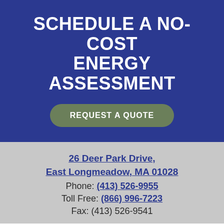SCHEDULE A NO-COST ENERGY ASSESSMENT
REQUEST A QUOTE
26 Deer Park Drive, East Longmeadow, MA 01028
Phone: (413) 526-9955
Toll Free: (866) 996-7223
Fax: (413) 526-9541
We use cookies on our website to give you the most relevant experience by remembering your preferences and repeat visits. By clicking “Accept”, you consent to the use of ALL the cookies.
ACCEPT